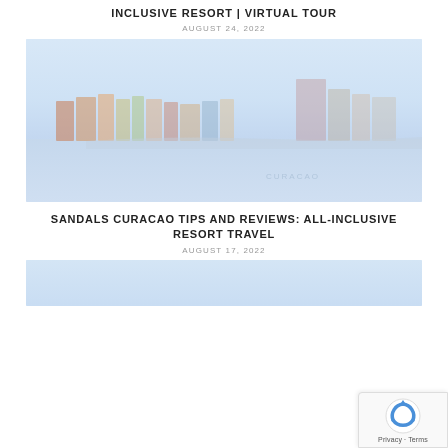INCLUSIVE RESORT | VIRTUAL TOUR
AUGUST 24, 2022
[Figure (photo): Colorful waterfront buildings in Curacao with blue sky and water, faded/low opacity style]
SANDALS CURACAO TIPS AND REVIEWS: ALL-INCLUSIVE RESORT TRAVEL
AUGUST 17, 2022
[Figure (photo): Partial thumbnail image, cropped at bottom of page]